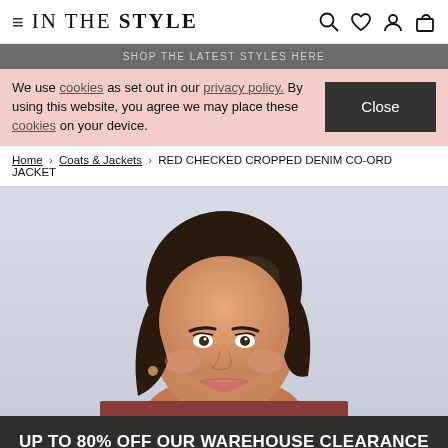IN THE STYLE
SHOP THE LATEST STYLES HERE
We use cookies as set out in our privacy policy. By using this website, you agree we may place these cookies on your device.
Home › Coats & Jackets › RED CHECKED CROPPED DENIM CO-ORD JACKET
[Figure (photo): Female model with brown hair smiling, wearing a red checked cropped denim jacket, photographed against a light grey/blue background. Product page image for Red Checked Cropped Denim Co-Ord Jacket.]
UP TO 80% OFF OUR WAREHOUSE CLEARANCE
SHOP NOW